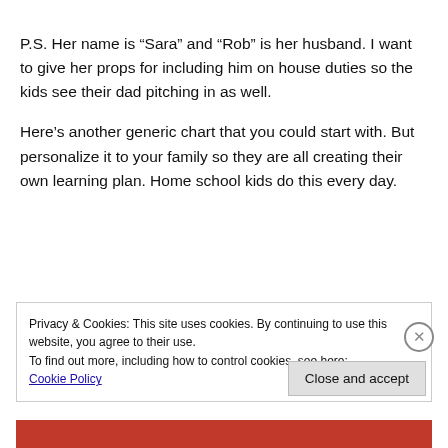P.S. Her name is “Sara” and “Rob” is her husband. I want to give her props for including him on house duties so the kids see their dad pitching in as well.
Here’s another generic chart that you could start with. But personalize it to your family so they are all creating their own learning plan. Home school kids do this every day.
[Figure (other): COVID-19 DAILY SCHEDULE title graphic in bold block letters with credit line '© Jessica McHale Photography']
Privacy & Cookies: This site uses cookies. By continuing to use this website, you agree to their use.
To find out more, including how to control cookies, see here: Cookie Policy